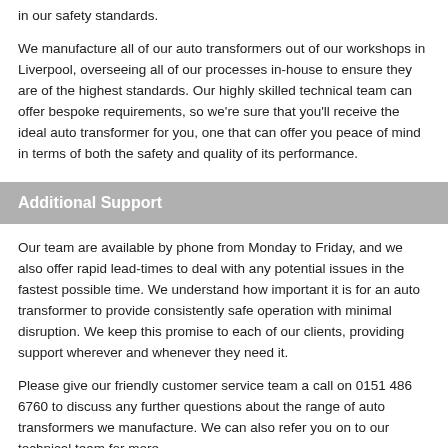in our safety standards.
We manufacture all of our auto transformers out of our workshops in Liverpool, overseeing all of our processes in-house to ensure they are of the highest standards. Our highly skilled technical team can offer bespoke requirements, so we're sure that you'll receive the ideal auto transformer for you, one that can offer you peace of mind in terms of both the safety and quality of its performance.
Additional Support
Our team are available by phone from Monday to Friday, and we also offer rapid lead-times to deal with any potential issues in the fastest possible time. We understand how important it is for an auto transformer to provide consistently safe operation with minimal disruption. We keep this promise to each of our clients, providing support wherever and whenever they need it.
Please give our friendly customer service team a call on 0151 486 6760 to discuss any further questions about the range of auto transformers we manufacture. We can also refer you on to our technical team for more